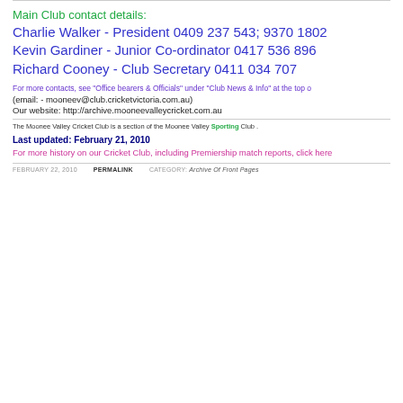Main Club contact details:
Charlie Walker - President 0409 237 543; 9370 1802
Kevin Gardiner - Junior Co-ordinator 0417 536 896
Richard Cooney - Club Secretary 0411 034 707
For more contacts, see "Office bearers & Officials" under "Club News & Info" at the top o
(email: - mooneev@club.cricketvictoria.com.au)
Our website: http://archive.mooneevalleycricket.com.au
The Moonee Valley Cricket Club is a section of the Moonee Valley Sporting Club .
Last updated: February 21, 2010
For more history on our Cricket Club, including Premiership match reports, click here
FEBRUARY 22, 2010   PERMALINK   CATEGORY: Archive Of Front Pages